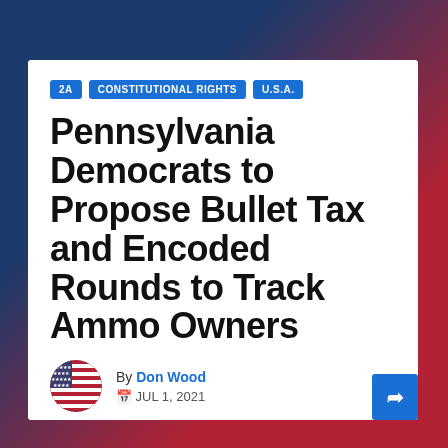[Figure (illustration): Background image showing US flag in blue and red tones]
2A | CONSTITUTIONAL RIGHTS | U.S.A.
Pennsylvania Democrats to Propose Bullet Tax and Encoded Rounds to Track Ammo Owners
By Don Wood
JUL 1, 2021